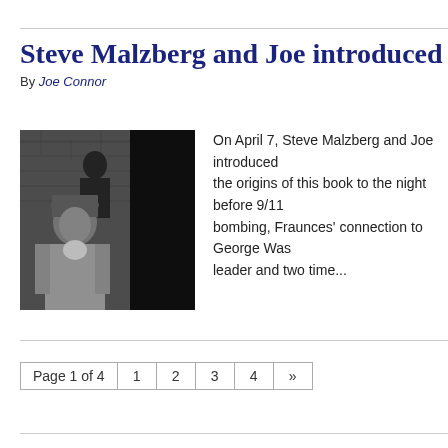Steve Malzberg and Joe introduced
By Joe Connor
[Figure (photo): Black and white photograph showing an elderly woman in the foreground wearing a head covering and light-colored clothing, with a figure visible in the background against a brick wall.]
On April 7, Steve Malzberg and Joe introduced the origins of this book to the night before 9/11 bombing, Fraunces' connection to George Was leader and two time...
Page 1 of 4  1  2  3  4  »